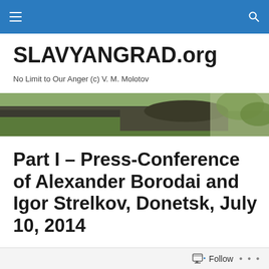SLAVYANGRAD.org navigation bar
SLAVYANGRAD.org
No Limit to Our Anger (c) V. M. Molotov
[Figure (photo): Header image showing a military tank gun barrel in a forested/outdoor setting]
Part I – Press-Conference of Alexander Borodai and Igor Strelkov, Donetsk, July 10, 2014
Posted by Gleb Bazov
Follow ...